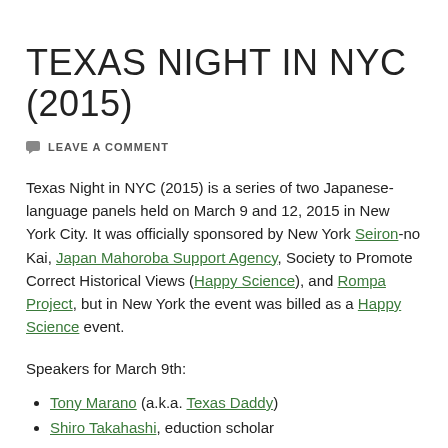TEXAS NIGHT IN NYC (2015)
LEAVE A COMMENT
Texas Night in NYC (2015) is a series of two Japanese-language panels held on March 9 and 12, 2015 in New York City. It was officially sponsored by New York Seiron-no Kai, Japan Mahoroba Support Agency, Society to Promote Correct Historical Views (Happy Science), and Rompa Project, but in New York the event was billed as a Happy Science event.
Speakers for March 9th:
Tony Marano (a.k.a. Texas Daddy)
Shiro Takahashi, eduction scholar
Yumiko Yamamoto, Nadeshiko Action